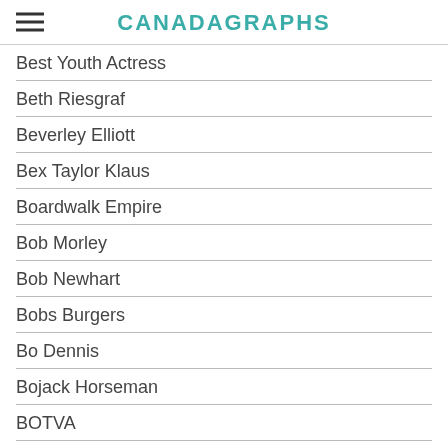CANADAGRAPHS
Best Youth Actress
Beth Riesgraf
Beverley Elliott
Bex Taylor Klaus
Boardwalk Empire
Bob Morley
Bob Newhart
Bobs Burgers
Bo Dennis
Bojack Horseman
BOTVA
Botva 2013
BOTVA 2014
BOTVA 2016